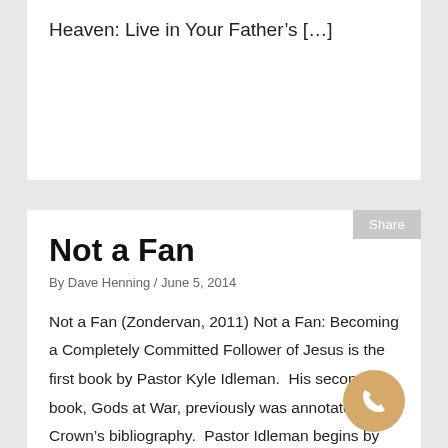Heaven: Live in Your Father's [...]
Not a Fan
By Dave Henning / June 5, 2014
Not a Fan (Zondervan, 2011) Not a Fan: Becoming a Completely Committed Follower of Jesus is the first book by Pastor Kyle Idleman.  His second book, Gods at War, previously was annotated in Crown's bibliography.  Pastor Idleman begins by observing that whenever Jesus spoke to a large crowd, most often the message He preached would [...]